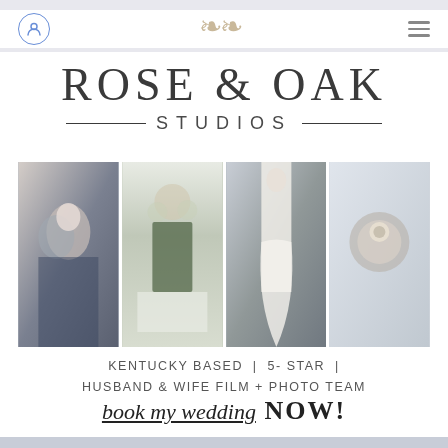[Figure (screenshot): Mobile browser navigation bar with user icon, floral ornament logo, and hamburger menu]
ROSE & OAK STUDIOS
[Figure (photo): Four wedding photos side by side: couple embracing, floral altar decor, bride standing in gown, wedding ring detail]
KENTUCKY BASED  |  5- STAR  |  HUSBAND & WIFE FILM + PHOTO TEAM
book my wedding NOW!